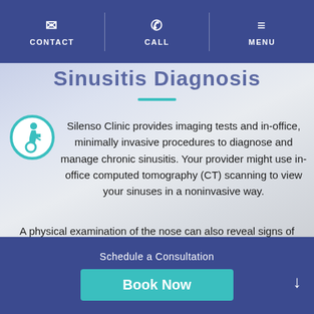CONTACT | CALL | MENU
[Figure (screenshot): Medical website screenshot showing a hero image of a person's face, accessibility icon, navigation bar with CONTACT, CALL, MENU buttons, and a partially visible heading text in blue]
Silenso Clinic provides imaging tests and in-office, minimally invasive procedures to diagnose and manage chronic sinusitis. Your provider might use in-office computed tomography (CT) scanning to view your sinuses in a noninvasive way.
A physical examination of the nose can also reveal signs of inflammation, such as nasal
Schedule a Consultation
Book Now